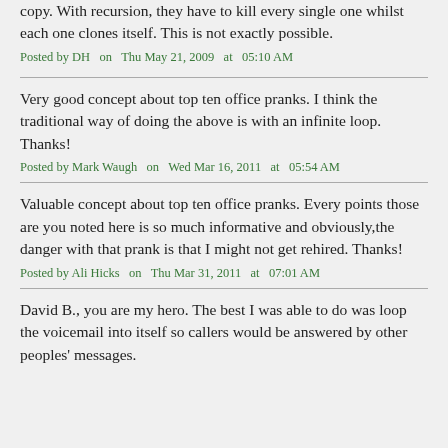copy. With recursion, they have to kill every single one whilst each one clones itself. This is not exactly possible.
Posted by DH  on  Thu May 21, 2009  at  05:10 AM
Very good concept about top ten office pranks. I think the traditional way of doing the above is with an infinite loop. Thanks!
Posted by Mark Waugh  on  Wed Mar 16, 2011  at  05:54 AM
Valuable concept about top ten office pranks. Every points those are you noted here is so much informative and obviously,the danger with that prank is that I might not get rehired. Thanks!
Posted by Ali Hicks  on  Thu Mar 31, 2011  at  07:01 AM
David B., you are my hero. The best I was able to do was loop the voicemail into itself so callers would be answered by other peoples' messages.